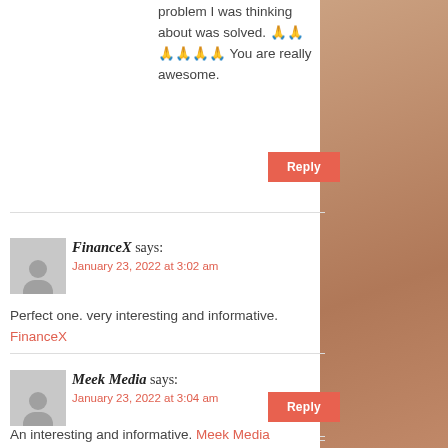problem I was thinking about was solved. 🙏🙏🙏🙏🙏🙏 You are really awesome.
Reply
FinanceX says:
January 23, 2022 at 3:02 am
Perfect one. very interesting and informative. FinanceX
Reply
Meek Media says:
January 23, 2022 at 3:04 am
An interesting and informative. Meek Media